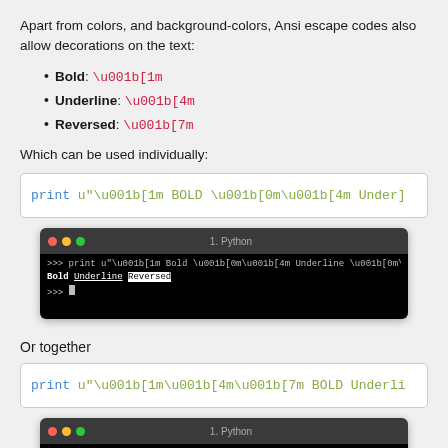Apart from colors, and background-colors, Ansi escape codes also allow decorations on the text:
Bold: \u001b[1m
Underline: \u001b[4m
Reversed: \u001b[7m
Which can be used individually:
[Figure (screenshot): Code box showing: print u"\u001b[1m BOLD \u001b[0m\u001b[4m Under]]
[Figure (screenshot): Terminal window titled '1. Python' showing the print command output with Bold, Underline, and Reversed text styling applied]
Or together
[Figure (screenshot): Code box showing: print u"\u001b[1m\u001b[4m\u001b[7m BOLD Underli]
[Figure (screenshot): Terminal window titled '1. Python' (partially visible at bottom)]